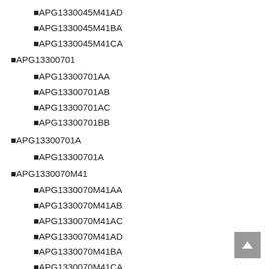APG1330045M41AD
APG1330045M41BA
APG1330045M41CA
APG13300701
APG13300701AA
APG13300701AB
APG13300701AC
APG13300701BB
APG13300701A
APG13300701A
APG1330070M41
APG1330070M41AA
APG1330070M41AB
APG1330070M41AC
APG1330070M41AD
APG1330070M41BA
APG1330070M41CA
APG13360451
APG13360451AA
APG13360451AB